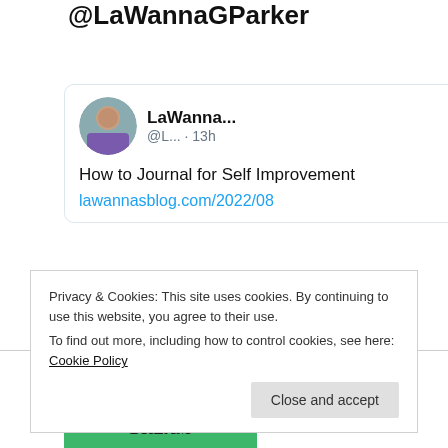@LaWannaGParker
[Figure (screenshot): Twitter/X tweet card from LaWanna... (@L...) posted 13h ago, reading: How to Journal for Self Improvement lawannasblog.com/2022/08]
[Figure (illustration): Book cover with green background and text: Courage to Live My Dream]
Privacy & Cookies: This site uses cookies. By continuing to use this website, you agree to their use.
To find out more, including how to control cookies, see here: Cookie Policy
Close and accept